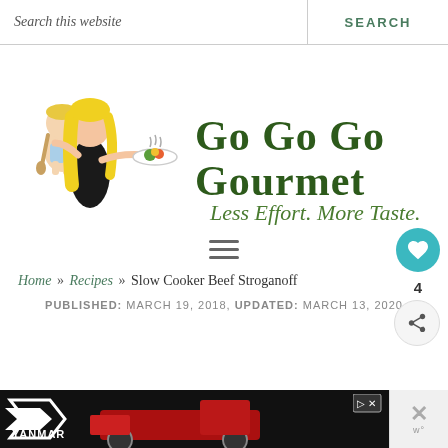Search this website | SEARCH
[Figure (logo): Go Go Go Gourmet logo with illustrated woman holding baby and plate, tagline: Less Effort. More Taste.]
≡ (hamburger menu icon)
Home » Recipes » Slow Cooker Beef Stroganoff
PUBLISHED: MARCH 19, 2018, UPDATED: MARCH 13, 2020
[Figure (screenshot): Yanmar advertisement banner with tractor image]